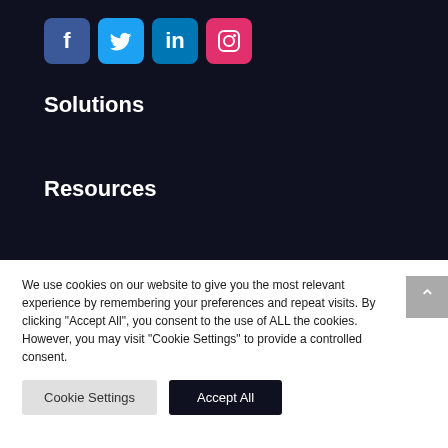[Figure (other): Social media icons: Facebook (blue), Twitter (light blue), LinkedIn (blue), Instagram (pink/red)]
Solutions
Resources
We use cookies on our website to give you the most relevant experience by remembering your preferences and repeat visits. By clicking "Accept All", you consent to the use of ALL the cookies. However, you may visit "Cookie Settings" to provide a controlled consent.